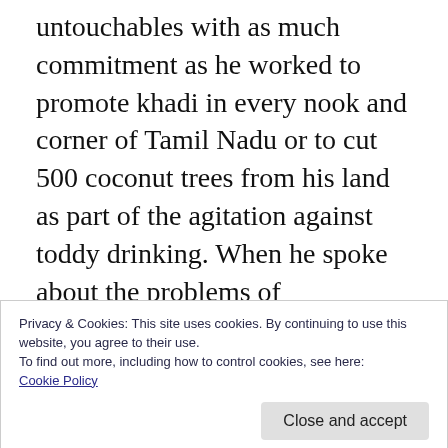untouchables with as much commitment as he worked to promote khadi in every nook and corner of Tamil Nadu or to cut 500 coconut trees from his land as part of the agitation against toddy drinking. When he spoke about the problems of untouchables, he equated those with problems faced by non-brahmins. Since he viewed the problem of untouchability as equivalent to the treatment of sudras by brahmins, he could say: ‘There is no difference between ourselves and you in terms of our
Privacy & Cookies: This site uses cookies. By continuing to use this website, you agree to their use.
To find out more, including how to control cookies, see here:
Cookie Policy
Close and accept
accepted from the untouchables over the